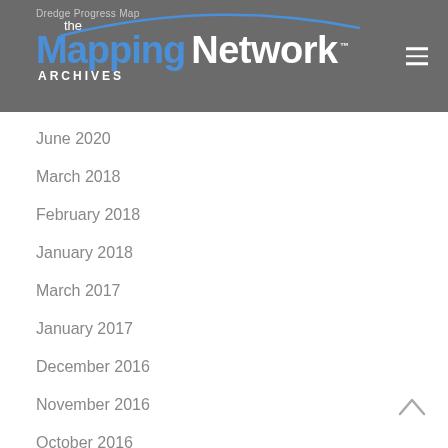the Mapping Network ARCHIVES — Dredge Progress Map
June 2020
March 2018
February 2018
January 2018
March 2017
January 2017
December 2016
November 2016
October 2016
August 2016
April 2016
March 2016